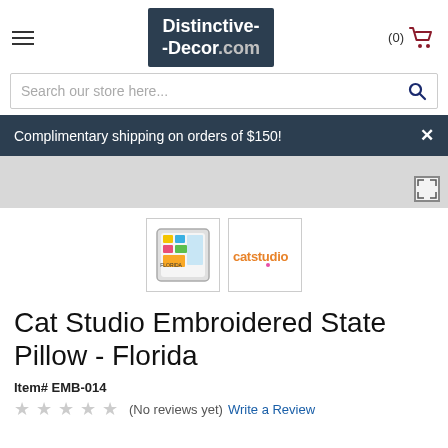Distinctive-Decor.com
Search our store here...
Complimentary shipping on orders of $150!
[Figure (photo): Product thumbnail of Cat Studio Embroidered Florida State Pillow]
[Figure (logo): Catstudio brand logo in orange text]
Cat Studio Embroidered State Pillow - Florida
Item# EMB-014
(No reviews yet) Write a Review